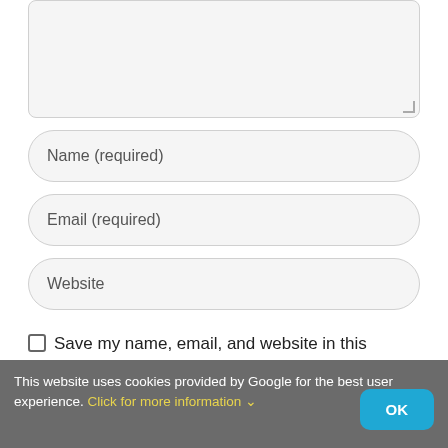[Figure (screenshot): A comment form textarea (empty, with resize handle at bottom right), partially visible at top of page.]
Name (required)
Email (required)
Website
Save my name, email, and website in this browser for the next time I comment.
POST COMMENT
This website uses cookies provided by Google for the best user experience. Click for more information ↓
OK